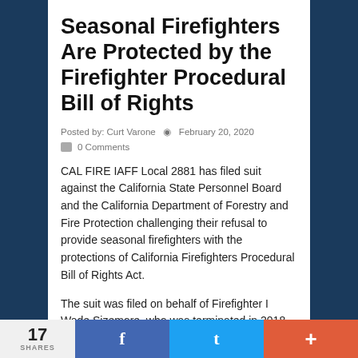Seasonal Firefighters Are Protected by the Firefighter Procedural Bill of Rights
Posted by: Curt Varone  February 20, 2020
 0 Comments
CAL FIRE IAFF Local 2881 has filed suit against the California State Personnel Board and the California Department of Forestry and Fire Protection challenging their refusal to provide seasonal firefighters with the protections of California Firefighters Procedural Bill of Rights Act.
The suit was filed on behalf of Firefighter I Wade Sizemore, who was terminated in 2018 without a full investigation or the benefit of an
17 SHARES  f  t  +